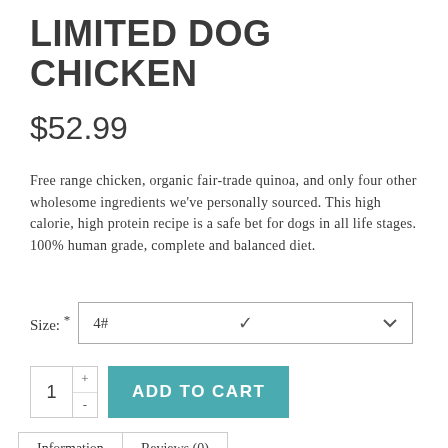LIMITED DOG CHICKEN
$52.99
Free range chicken, organic fair-trade quinoa, and only four other wholesome ingredients we've personally sourced. This high calorie, high protein recipe is a safe bet for dogs in all life stages. 100% human grade, complete and balanced diet.
Size: * 4#
1 + - ADD TO CART
Information | Reviews (0)
Availability:In stock
Ingredients: Dehydrated chicken, organic quinoa, dehydrated sweet potatoes, dehydrated spinach, dried parsley, dehydrated organic kelp.